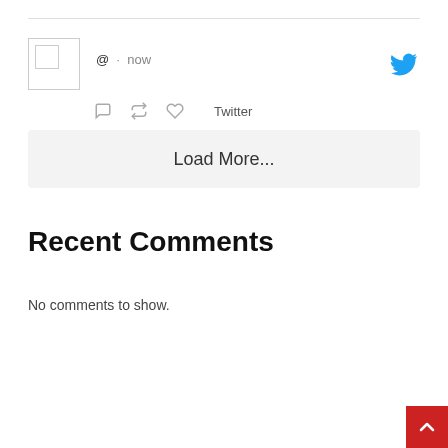[Figure (screenshot): Tweet card with avatar placeholder, @ symbol, dot, 'now' timestamp, Twitter bird icon, comment/retweet/like action icons, and 'Twitter' source label]
Load More...
Recent Comments
No comments to show.